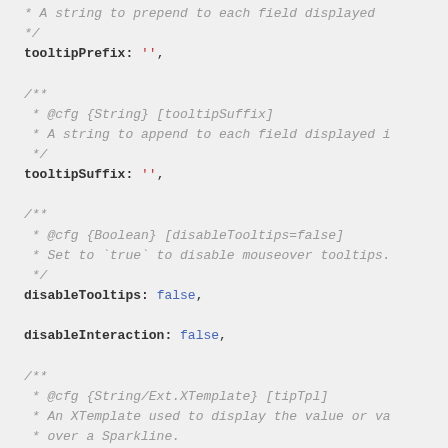* A string to prepend to each field displayed
 */
tooltipPrefix: '',

/**
 * @cfg {String} [tooltipSuffix]
 * A string to append to each field displayed i
 */
tooltipSuffix: '',

/**
 * @cfg {Boolean} [disableTooltips=false]
 * Set to `true` to disable mouseover tooltips.
 */
disableTooltips: false,

disableInteraction: false,

/**
 * @cfg {String/Ext.XTemplate} [tipTpl]
 * An XTemplate used to display the value or va
 * over a Sparkline.
 *
 * The implemented subclases all define their o